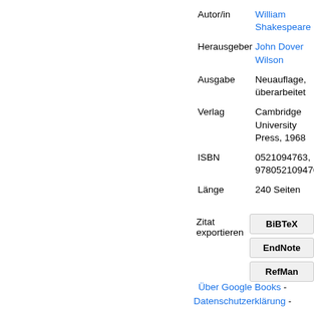| Autor/in | William Shakespeare |
| Herausgeber | John Dover Wilson |
| Ausgabe | Neuauflage, überarbeitet |
| Verlag | Cambridge University Press, 1968 |
| ISBN | 0521094763, 9780521094763 |
| Länge | 240 Seiten |
Zitat exportieren
BiBTeX
EndNote
RefMan
Über Google Books - Datenschutzerklärung -